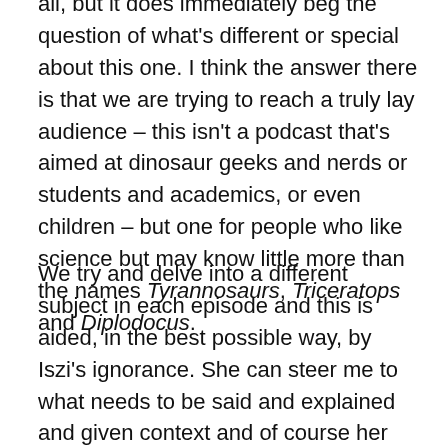all, but it does immediately beg the question of what's different or special about this one. I think the answer there is that we are trying to reach a truly lay audience – this isn't a podcast that's aimed at dinosaur geeks and nerds or students and academics, or even children – but one for people who like science but may know little more than the names Tyrannosaurs, Triceratops and Diplodocus.
We try and delve into a different subject in each episode and this is aided, in the best possible way, by Iszi's ignorance. She can steer me to what needs to be said and explained and given context and of course her wit is there to stop me rambling on about gastralia excessively.  Her experience and expertise also means she generally knows how to host and edit one of these things so against all odds I even end up sounding vaguely professional, it's quite a marvel. If all of the wasn't incentive enough, we've